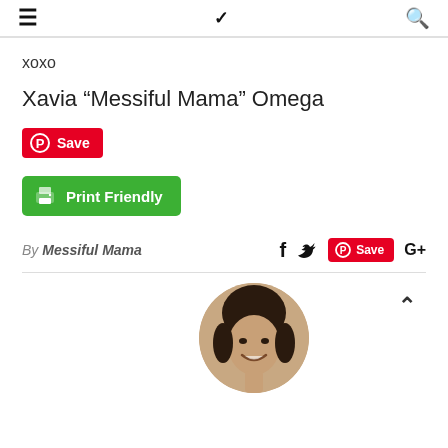≡  ∨  🔍 (navigation bar)
xoxo
Xavia “Messiful Mama” Omega
[Figure (screenshot): Pinterest Save button (red)]
[Figure (screenshot): Print Friendly button (green)]
By Messiful Mama
[Figure (screenshot): Social share icons: Facebook, Twitter, Pinterest Save, Google+]
[Figure (photo): Circular profile photo of a young woman smiling]